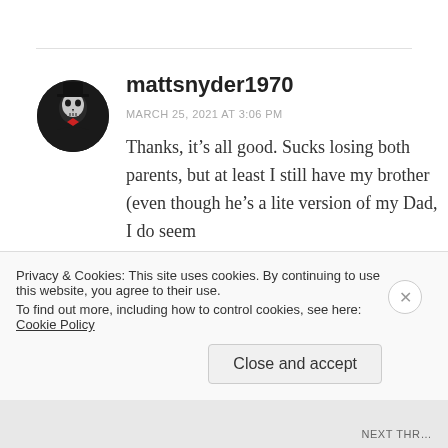[Figure (illustration): Circular avatar image showing a skeleton/dark figure with a hat and red accent, against a black background]
mattsnyder1970
MARCH 25, 2021 AT 3:06 PM
Thanks, it’s all good. Sucks losing both parents, but at least I still have my brother (even though he’s a lite version of my Dad, I do seem
Privacy & Cookies: This site uses cookies. By continuing to use this website, you agree to their use.
To find out more, including how to control cookies, see here: Cookie Policy
Close and accept